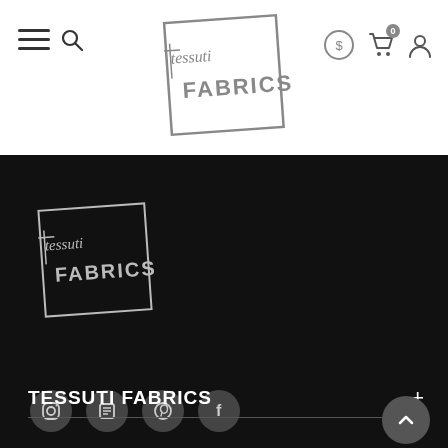[Figure (logo): Tessuti Fabrics logo in header, grey on white background, handwritten 'tessuti' text with FABRICS in block letters inside a square border]
[Figure (logo): Navigation icons on left: hamburger menu and search icon]
[Figure (logo): Navigation icons on right: currency/coin icon, cart icon with badge '0', user/account icon]
[Figure (logo): Tessuti Fabrics logo in footer, white on black background]
[Figure (infographic): Four social media icon circles: Instagram, a book/blog icon, Pinterest, Facebook]
TESSUTI FABRICS
[Figure (other): Back to top chevron/arrow button, grey circle with upward arrow]